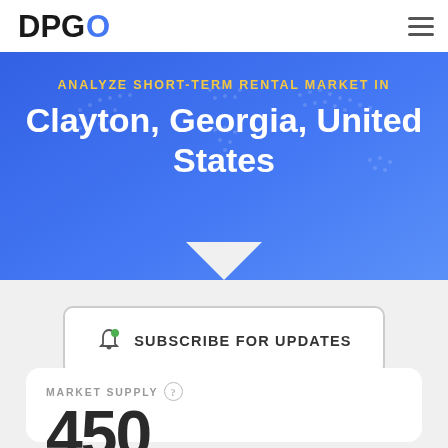DPGO
ANALYZE SHORT-TERM RENTAL MARKET IN Clayton, Georgia, United States
SUBSCRIBE FOR UPDATES
MARKET SUPPLY
450